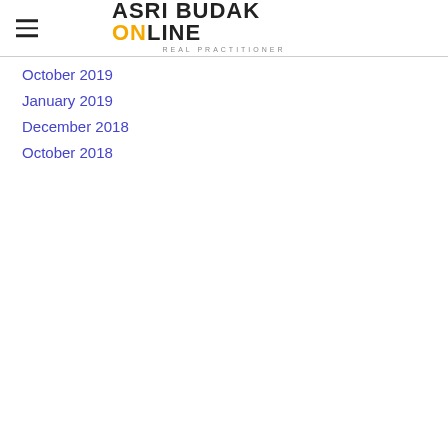ASRI BUDAK ONLINE | REAL PRACTITIONER
October 2019
January 2019
December 2018
October 2018